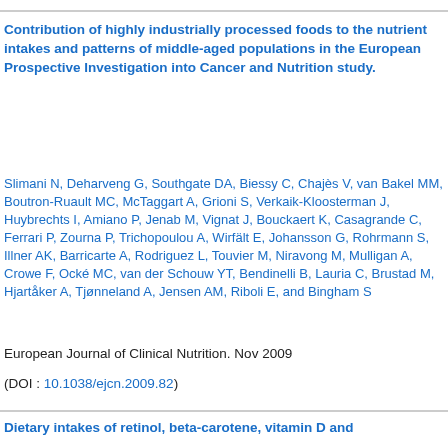Contribution of highly industrially processed foods to the nutrient intakes and patterns of middle-aged populations in the European Prospective Investigation into Cancer and Nutrition study.
Slimani N, Deharveng G, Southgate DA, Biessy C, Chajès V, van Bakel MM, Boutron-Ruault MC, McTaggart A, Grioni S, Verkaik-Kloosterman J, Huybrechts I, Amiano P, Jenab M, Vignat J, Bouckaert K, Casagrande C, Ferrari P, Zourna P, Trichopoulou A, Wirfält E, Johansson G, Rohrmann S, Illner AK, Barricarte A, Rodriguez L, Touvier M, Niravong M, Mulligan A, Crowe F, Ocké MC, van der Schouw YT, Bendinelli B, Lauria C, Brustad M, Hjartåker A, Tjønneland A, Jensen AM, Riboli E, and Bingham S
European Journal of Clinical Nutrition. Nov 2009
(DOI : 10.1038/ejcn.2009.82)
Dietary intakes of retinol, beta-carotene, vitamin D and